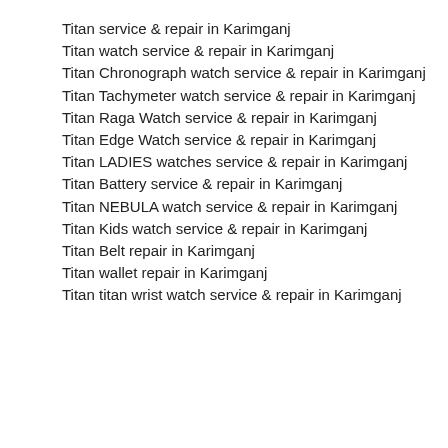Titan service & repair in Karimganj
Titan watch service & repair in Karimganj
Titan Chronograph watch service & repair in Karimganj
Titan Tachymeter watch service & repair in Karimganj
Titan Raga Watch service & repair in Karimganj
Titan Edge Watch service & repair in Karimganj
Titan LADIES watches service & repair in Karimganj
Titan Battery service & repair in Karimganj
Titan NEBULA watch service & repair in Karimganj
Titan Kids watch service & repair in Karimganj
Titan Belt repair in Karimganj
Titan wallet repair in Karimganj
Titan titan wrist watch service & repair in Karimganj